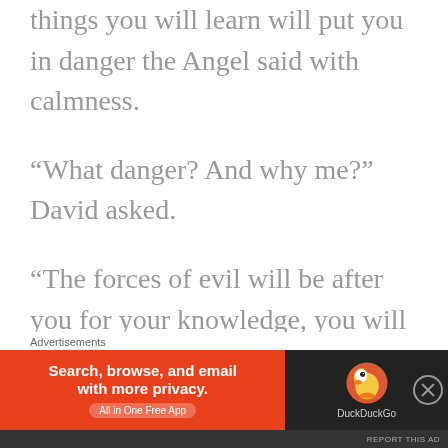things you will learn will put you in danger the Angel said with calmness.
“What danger? And why me?” David asked.
“The forces of evil will be after you for your knowledge, you will learn in time.  However, let me introduce myself. I am Grionia and I have many names, I shall only share this name with you.  Any time you need me this will be my gift. I can protect you.  Now, let me show you these things.” With a wave of his
Advertisements
[Figure (screenshot): DuckDuckGo advertisement banner: orange left side with text 'Search, browse, and email with more privacy. All in One Free App' and dark right side with DuckDuckGo duck logo and brand name.]